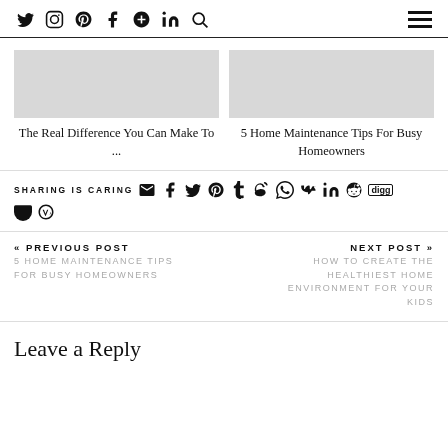Twitter Instagram Pinterest Facebook Google+ LinkedIn Search | Menu
[Figure (other): Two related post thumbnails (gray placeholder images) side by side]
The Real Difference You Can Make To ...
5 Home Maintenance Tips For Busy Homeowners
SHARING IS CARING  [Email] [Facebook] [Twitter] [Pinterest] [Tumblr] [Weibo] [WhatsApp] [VK] [LinkedIn] [Reddit] [Digg] [Pocket] [WordPress]
« PREVIOUS POST
5 HOME MAINTENANCE TIPS FOR BUSY HOMEOWNERS
NEXT POST »
HOW TO CREATE THE HEALTHIEST HOME ENVIRONMENT FOR YOUR KIDS
Leave a Reply